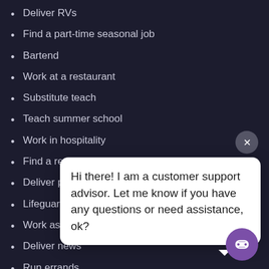Deliver RVs
Find a part-time seasonal job
Bartend
Work at a restaurant
Substitute teach
Teach summer school
Work in hospitality
Find a retail
Deliver pizza
Lifeguard
Work as a re
Deliver news
Run errands
Teach people to knit, crochet, or craft
Work at a summer camp
Hi there! I am a customer support advisor. Let me know if you have any questions or need assistance, ok?